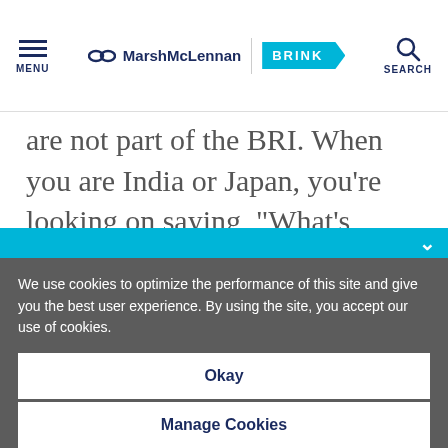MENU | MarshMcLennan BRINK | SEARCH
are not part of the BRI. When you are India or Japan, you’re looking on saying, “What’s happening, and what’s in there for me?”
BRINK Asia: And for businesses in the
We use cookies to optimize the performance of this site and give you the best user experience. By using the site, you accept our use of cookies.
Okay
Manage Cookies